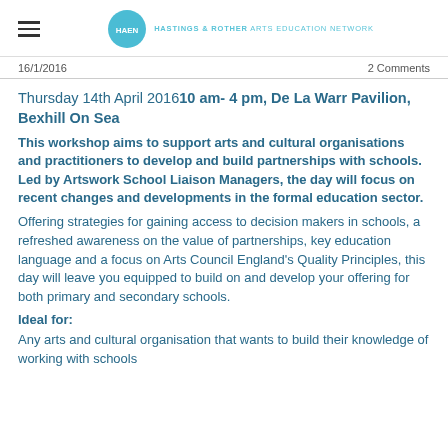HASTINGS & ROTHER ARTS EDUCATION NETWORK
16/1/2016    2 Comments
Thursday 14th April 2016  10 am- 4 pm, De La Warr Pavilion, Bexhill On Sea
This workshop aims to support arts and cultural organisations and practitioners to develop and build partnerships with schools.  Led by Artswork School Liaison Managers, the day will focus on recent changes and developments in the formal education sector.
Offering strategies for gaining access to decision makers in schools, a refreshed awareness on the value of partnerships, key education language and a focus on Arts Council England's Quality Principles, this day will leave you equipped to build on and develop your offering for both primary and secondary schools.
Ideal for:
Any arts and cultural organisation that wants to build their knowledge of working with schools